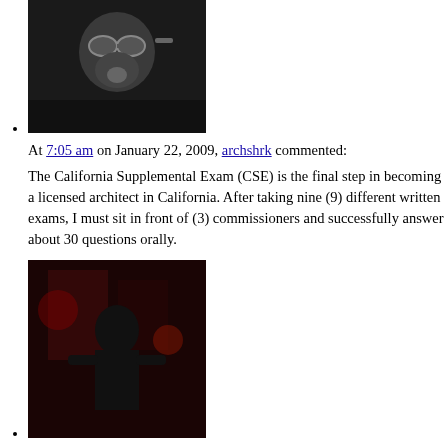[Figure (photo): Avatar photo of a person wearing a gas mask and goggles]
At 7:05 am on January 22, 2009, archshrk commented:
The California Supplemental Exam (CSE) is the final step in becoming a licensed architect in California. After taking nine (9) different written exams, I must sit in front of (3) commissioners and successfully answer about 30 questions orally.
[Figure (photo): Avatar photo of a person in red dramatic scene]
At 7:16 am on January 22, 2009, DinkyInky commented:
I am out here in More than Corn-land cheering for you…go ahead and picture me with pom-poms…I bet the laugh will do wonders.
[Figure (photo): Avatar photo of a person wearing goggles and gas mask]